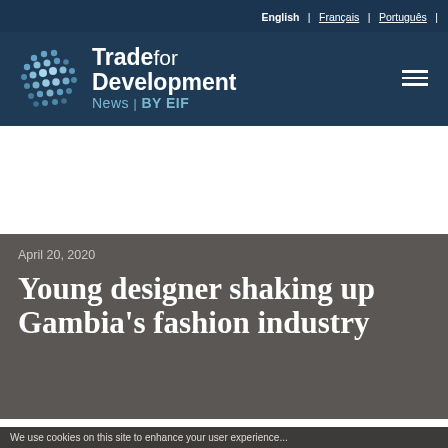English | Français | Português |
[Figure (logo): Trade for Development News by EIF logo with globe icon made of dots]
April 20, 2020
Young designer shaking up Gambia's fashion industry
We use cookies on this site to enhance your user experience...